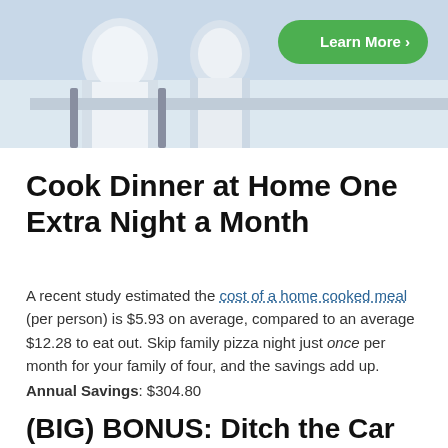[Figure (photo): Photo of people seated at a table, with a green 'Learn More >' button overlay in the top-right corner]
Cook Dinner at Home One Extra Night a Month
A recent study estimated the cost of a home cooked meal (per person) is $5.93 on average, compared to an average $12.28 to eat out. Skip family pizza night just once per month for your family of four, and the savings add up.
Annual Savings: $304.80
(BIG) BONUS: Ditch the Car